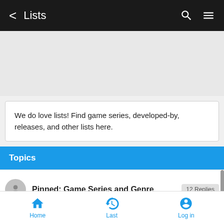Lists
We do love lists! Find game series, developed-by, releases, and other lists here.
Topics
Pinned: Game Series and Genre — 12 Replies
Home  Last  Log in